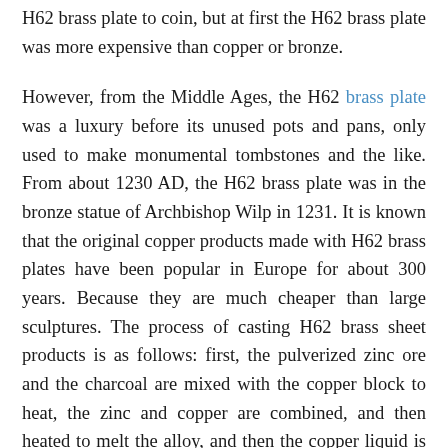H62 brass plate to coin, but at first the H62 brass plate was more expensive than copper or bronze.
However, from the Middle Ages, the H62 brass plate was a luxury before its unused pots and pans, only used to make monumental tombstones and the like. From about 1230 AD, the H62 brass plate was in the bronze statue of Archbishop Wilp in 1231. It is known that the original copper products made with H62 brass plates have been popular in Europe for about 300 years. Because they are much cheaper than large sculptures. The process of casting H62 brass sheet products is as follows: first, the pulverized zinc ore and the charcoal are mixed with the copper block to heat, the zinc and copper are combined, and then heated to melt the alloy, and then the copper liquid is poured into the mold. The UK's original H62 brass